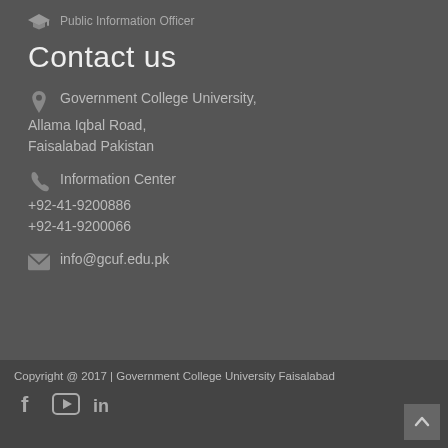Public Information Officer
Contact us
Government College University, Allama Iqbal Road, Faisalabad Pakistan
Information Center
+92-41-9200886
+92-41-9200066
info@gcuf.edu.pk
Copyright @ 2017 | Government College University Faisalabad